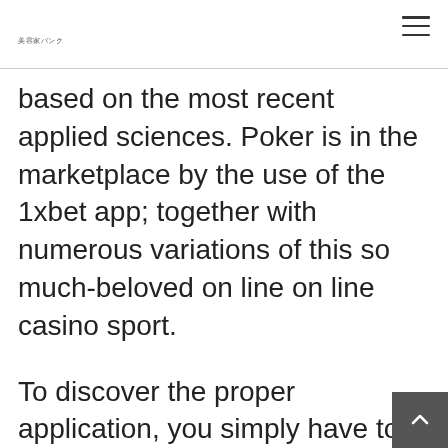美容家バンク
based on the most recent applied sciences. Poker is in the marketplace by the use of the 1xbet app; together with numerous variations of this so much-beloved on line on line casino sport.
To discover the proper application, you simply have to go to the acknowledged website, to the Apple Retailer, or use different methods like 1xBet apkpure. The installation is safe for the smartphone and mustn't harm your knowledge. The page